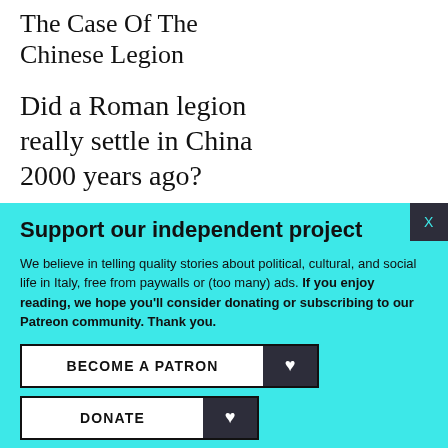The Case Of The Chinese Legion
Did a Roman legion really settle in China 2000 years ago?
Support our independent project
We believe in telling quality stories about political, cultural, and social life in Italy, free from paywalls or (too many) ads. If you enjoy reading, we hope you'll consider donating or subscribing to our Patreon community. Thank you.
BECOME A PATRON
DONATE
Follow us: Facebook Instagram Twitter